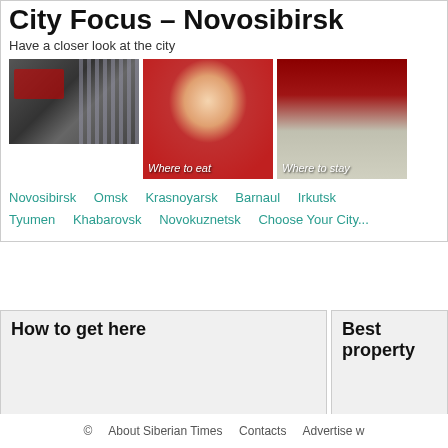City Focus – Novosibirsk
Have a closer look at the city
[Figure (photo): City building exterior photo]
[Figure (photo): Person in red shirt – Where to eat]
[Figure (photo): Restaurant exterior – Where to stay]
Novosibirsk   Omsk   Krasnoyarsk   Barnaul   Irkutsk   Tyumen   Khabarovsk   Novokuznetsk   Choose Your City...
How to get here
[Figure (photo): Trains and Flights section content area]
Best property
[Figure (photo): Hotel Resolution section content area]
©   About Siberian Times   Contacts   Advertise w